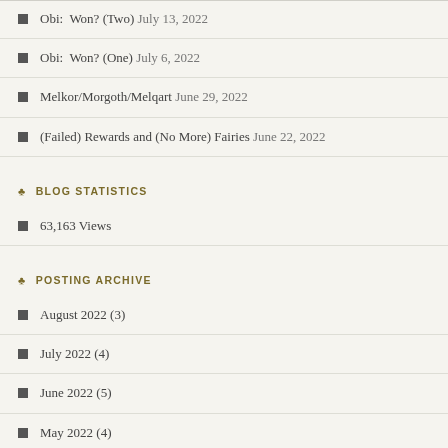Obi:  Won? (Two) July 13, 2022
Obi:  Won? (One) July 6, 2022
Melkor/Morgoth/Melqart June 29, 2022
(Failed) Rewards and (No More) Fairies June 22, 2022
BLOG STATISTICS
63,163 Views
POSTING ARCHIVE
August 2022 (3)
July 2022 (4)
June 2022 (5)
May 2022 (4)
April 2022 (4)
March 2022 (5)
February 2022 (4)